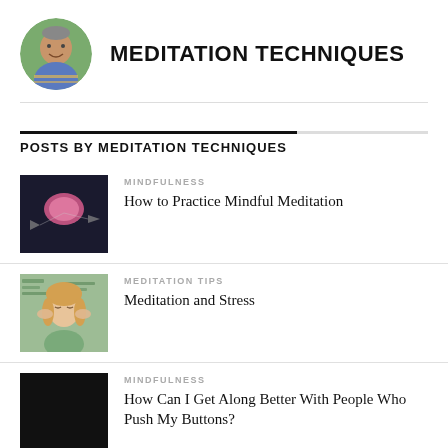[Figure (photo): Circular avatar photo of a man in a striped shirt outdoors]
MEDITATION TECHNIQUES
POSTS BY MEDITATION TECHNIQUES
[Figure (photo): Dark atmospheric image of a glowing brain with aircraft in background]
MINDFULNESS
How to Practice Mindful Meditation
[Figure (photo): Woman with eyes closed, hands on temples, stress concept with text overlaid]
MEDITATION TIPS
Meditation and Stress
[Figure (photo): Black/dark image thumbnail]
MINDFULNESS
How Can I Get Along Better With People Who Push My Buttons?